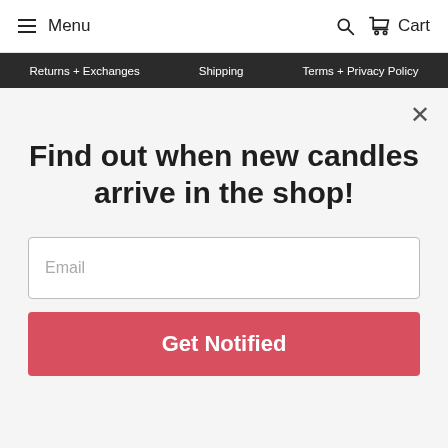Menu | Search | Cart
Returns + Exchanges  Shipping  Terms + Privacy Policy
×
Find out when new candles arrive in the shop!
Email
Get Notified